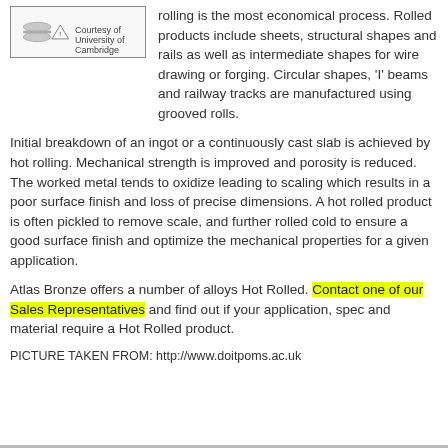[Figure (illustration): Diagram of rolling process with warning triangle symbol, captioned 'Courtesy of University of Cambridge']
rolling is the most economical process. Rolled products include sheets, structural shapes and rails as well as intermediate shapes for wire drawing or forging. Circular shapes, 'I' beams and railway tracks are manufactured using grooved rolls.
Initial breakdown of an ingot or a continuously cast slab is achieved by hot rolling. Mechanical strength is improved and porosity is reduced. The worked metal tends to oxidize leading to scaling which results in a poor surface finish and loss of precise dimensions. A hot rolled product is often pickled to remove scale, and further rolled cold to ensure a good surface finish and optimize the mechanical properties for a given application.
Atlas Bronze offers a number of alloys Hot Rolled. Contact one of our Sales Representatives and find out if your application, spec and material require a Hot Rolled product.
PICTURE TAKEN FROM: http://www.doitpoms.ac.uk